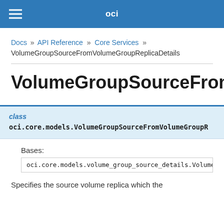oci
Docs » API Reference » Core Services » VolumeGroupSourceFromVolumeGroupReplicaDetails
VolumeGroupSourceFromVolum
class
oci.core.models.VolumeGroupSourceFromVolumeGroupR
Bases:
oci.core.models.volume_group_source_details.VolumeGroup
Specifies the source volume replica which the